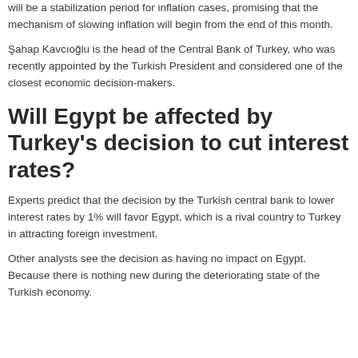will be a stabilization period for inflation cases, promising that the mechanism of slowing inflation will begin from the end of this month.
Şahap Kavcıoğlu is the head of the Central Bank of Turkey, who was recently appointed by the Turkish President and considered one of the closest economic decision-makers.
Will Egypt be affected by Turkey's decision to cut interest rates?
Experts predict that the decision by the Turkish central bank to lower interest rates by 1% will favor Egypt, which is a rival country to Turkey in attracting foreign investment.
Other analysts see the decision as having no impact on Egypt. Because there is nothing new during the deteriorating state of the Turkish economy.